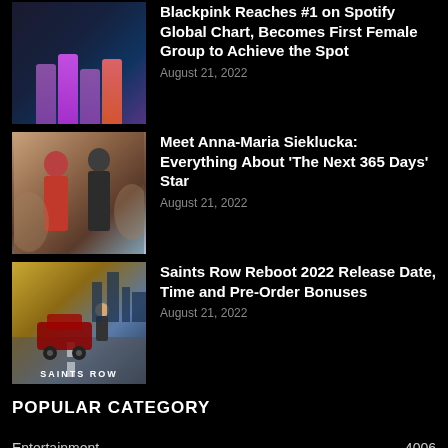[Figure (photo): Blackpink group photo thumbnail]
Blackpink Reaches #1 on Spotify Global Chart, Becomes First Female Group to Achieve the Spot
August 21, 2022
[Figure (photo): Anna-Maria Sieklucka and co-star from The Next 365 Days]
Meet Anna-Maria Sieklucka: Everything About ‘The Next 365 Days’ Star
August 21, 2022
[Figure (photo): Saints Row Reboot game cover art with SAINTS ROW logo]
Saints Row Reboot 2022 Release Date, Time and Pre-Order Bonuses
August 21, 2022
POPULAR CATEGORY
Entertainment 4006
Latest 1770